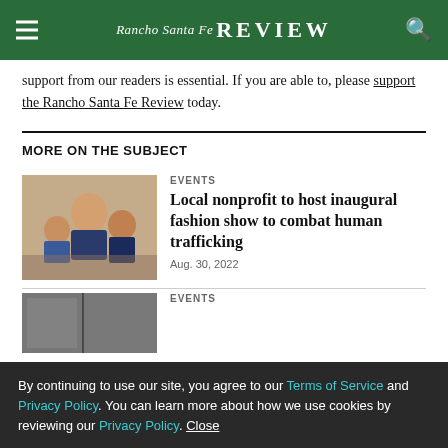Rancho Santa Fe Review
support from our readers is essential. If you are able to, please support the Rancho Santa Fe Review today.
MORE ON THE SUBJECT
[Figure (photo): Photo of a woman with two boys at an event]
EVENTS
Local nonprofit to host inaugural fashion show to combat human trafficking
Aug. 30, 2022
[Figure (photo): Partially visible photo of event]
EVENTS
By continuing to use our site, you agree to our Terms of Service and Privacy Policy. You can learn more about how we use cookies by reviewing our Privacy Policy. Close